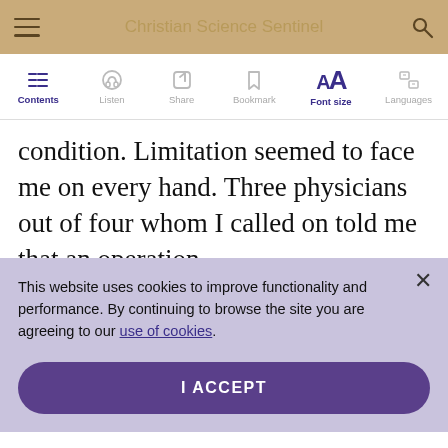Christian Science Sentinel
condition. Limitation seemed to face me on every hand. Three physicians out of four whom I called on told me that an operation
This website uses cookies to improve functionality and performance. By continuing to browse the site you are agreeing to our use of cookies.
I ACCEPT